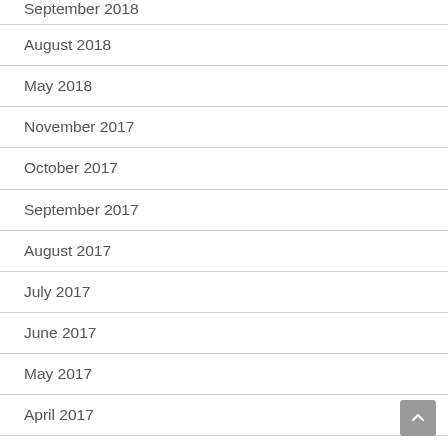September 2018
August 2018
May 2018
November 2017
October 2017
September 2017
August 2017
July 2017
June 2017
May 2017
April 2017
March 2017
February 2017